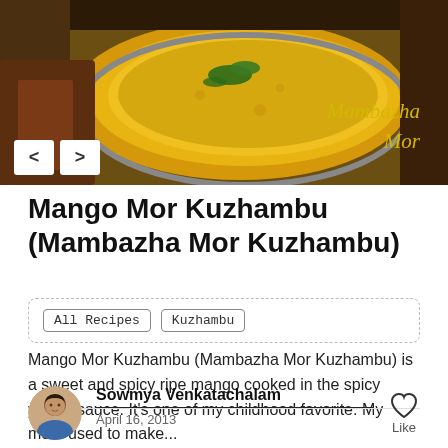[Figure (photo): Photo of Mango Mor Kuzhambu dish in a metal bowl with text 'Mambazha Mor' overlaid in yellow cursive, with navigation arrow buttons]
Mango Mor Kuzhambu (Mambazha Mor Kuzhambu)
All Recipes  Kuzhambu
Mango Mor Kuzhambu (Mambazha Mor Kuzhambu) is a sweet and spicy ripe mango cooked in the spicy yogurt sauce. It's one of my childhood favorite. My mom used to make...
Sowmya Venkatachalam
April 16, 2013
Like